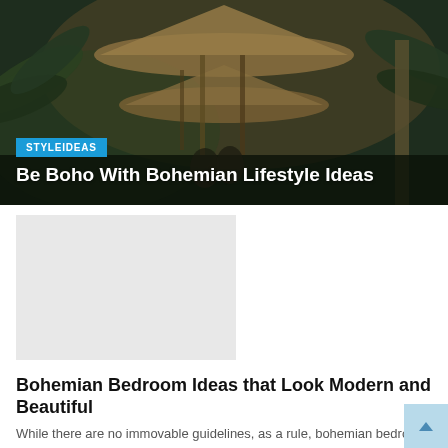[Figure (photo): Aerial or close-up photo of a bohemian treehouse structure with thatched cone-shaped roofs, bamboo framework, surrounded by tropical jungle foliage. Dark moody tones.]
STYLEIDEAS
Be Boho With Bohemian Lifestyle Ideas
[Figure (photo): Light gray placeholder image for a bohemian bedroom article]
Bohemian Bedroom Ideas that Look Modern and Beautiful
While there are no immovable guidelines, as a rule, bohemian bedroom implies an easygoing and tranquil vibe, a lot of shades of the coast,